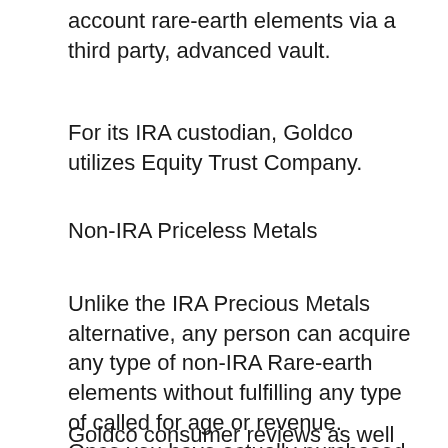account rare-earth elements via a third party, advanced vault.
For its IRA custodian, Goldco utilizes Equity Trust Company.
Non-IRA Priceless Metals
Unlike the IRA Precious Metals alternative, any person can acquire any type of non-IRA Rare-earth elements without fulfilling any type of called for age or revenue. Once you have actually purchased rare-earth elements, you have the alternative to have them stored in a secure vault, or delivered directly to your home.
Goldco consumer reviews as well as